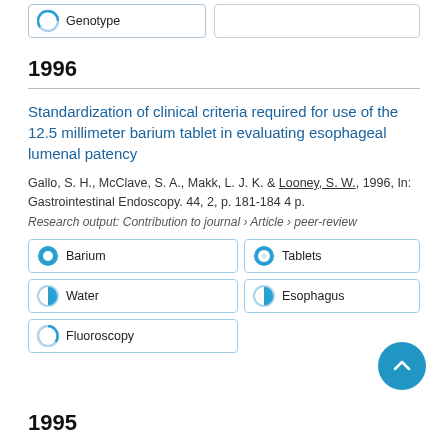Genotype
1996
Standardization of clinical criteria required for use of the 12.5 millimeter barium tablet in evaluating esophageal lumenal patency
Gallo, S. H., McClave, S. A., Makk, L. J. K. & Looney, S. W., 1996, In: Gastrointestinal Endoscopy. 44, 2, p. 181-184 4 p.
Research output: Contribution to journal › Article › peer-review
Barium
Tablets
Water
Esophagus
Fluoroscopy
1995